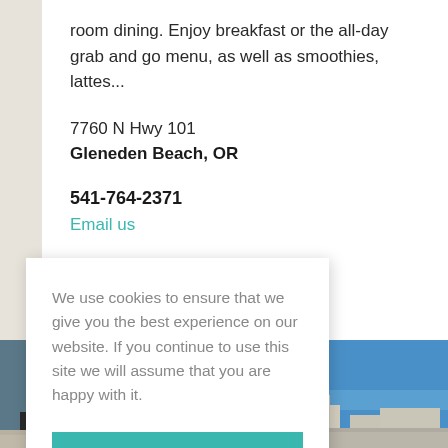room dining. Enjoy breakfast or the all-day grab and go menu, as well as smoothies, lattes...
7760 N Hwy 101
Gleneden Beach, OR
541-764-2371
Email us
BSITE
We use cookies to ensure that we give you the best experience on our website. If you continue to use this site we will assume that you are happy with it.
OK
[Figure (photo): Bottom strip showing building/hotel exterior with blue sky, split into left and right sections]